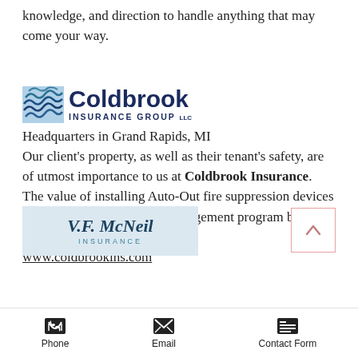knowledge, and direction to handle anything that may come your way.
[Figure (logo): Coldbrook Insurance Group LLC logo with wave/water graphic icon and bold navy text]
Headquarters in Grand Rapids, MI Our client’s property, as well as their tenant’s safety, are of utmost importance to us at Coldbrook Insurance. The value of installing Auto-Out fire suppression devices in conjunction with a risk management program benefits all parties involved. www.coldbrookins.com
[Figure (logo): V.F. McNeil Insurance logo on light blue background]
Phone   Email   Contact Form